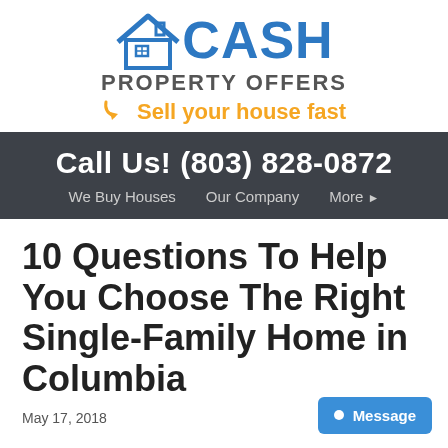[Figure (logo): Cash Property Offers logo with house icon, blue CASH text, gray PROPERTY OFFERS text, and orange tagline 'Sell your house fast' with arrow]
Call Us! (803) 828-0872
We Buy Houses   Our Company   More ▸
10 Questions To Help You Choose The Right Single-Family Home in Columbia
May 17, 2018